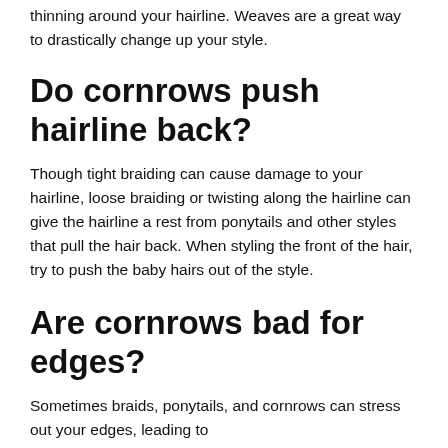thinning around your hairline. Weaves are a great way to drastically change up your style.
Do cornrows push hairline back?
Though tight braiding can cause damage to your hairline, loose braiding or twisting along the hairline can give the hairline a rest from ponytails and other styles that pull the hair back. When styling the front of the hair, try to push the baby hairs out of the style.
Are cornrows bad for edges?
Sometimes braids, ponytails, and cornrows can stress out your edges, leading to